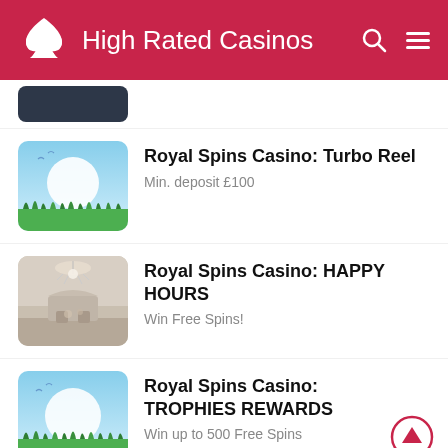High Rated Casinos
Royal Spins Casino: Turbo Reel
Min. deposit £100
Royal Spins Casino: HAPPY HOURS
Win Free Spins!
Royal Spins Casino: TROPHIES REWARDS
Win up to 500 Free Spins